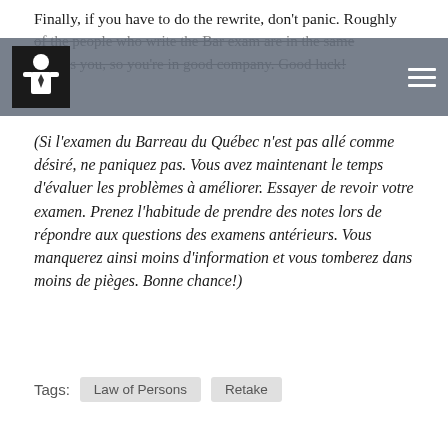Finally, if you have to do the rewrite, don't panic. Roughly [half] of the people who write the Bar exam are in the same boat as you, so you're in good company. Good luck!
[navigation bar with logo and menu]
(Si l'examen du Barreau du Québec n'est pas allé comme désiré, ne paniquez pas. Vous avez maintenant le temps d'évaluer les problèmes à améliorer. Essayer de revoir votre examen. Prenez l'habitude de prendre des notes lors de répondre aux questions des examens antérieurs. Vous manquerez ainsi moins d'information et vous tomberez dans moins de pièges. Bonne chance!)
Tags: Law of Persons  Retake